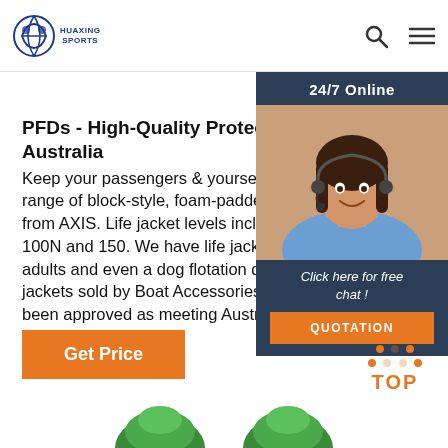HUAXING SPORTS
PFDs - High-Quality Protective Life Jackets Australia
Keep your passengers & yourself safe with our range of block-style, foam-padded life jackets from AXIS. Life jacket levels include 50, 100N and 150. We have life jackets for children, adults and even a dog flotation device. Life jackets sold by Boat Accessories Australia have been approved as meeting Australian
[Figure (photo): Customer service representative wearing headset, smiling, with 24/7 Online banner and Click here for free chat! text, and QUOTATION button]
Get Price
[Figure (infographic): TOP button with orange dot-triangle arrow pointing upward and orange TOP label]
[Figure (photo): Bottom partial view of green life jacket products]